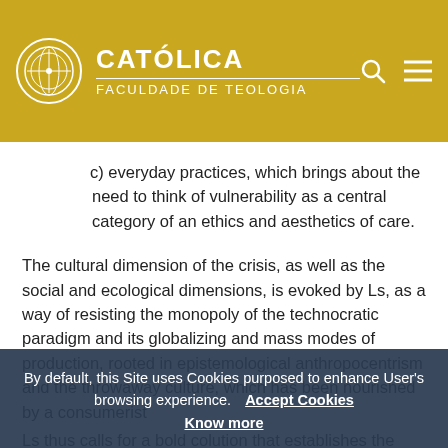CATÓLICA FACULDADE DE TEOLOGIA
c) everyday practices, which brings about the need to think of vulnerability as a central category of an ethics and aesthetics of care.
The cultural dimension of the crisis, as well as the social and ecological dimensions, is evoked by Ls, as a way of resisting the monopoly of the technocratic paradigm and its globalizing and mass modes of production, rooted in epistemological anthropocentrism and the throwaway culture, which has been nourished by a consumerist...
Ls thus calls for a bold cultural revolution that establishes the interdependence between scientific and
By default, this Site uses Cookies purposed to enhance User's browsing experience. Accept Cookies Know more